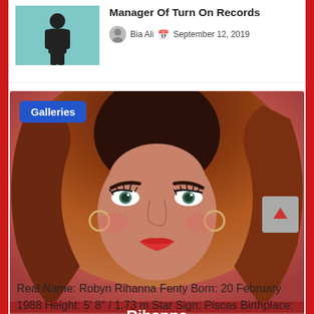Manager Of Turn On Records
Bia Ali  September 12, 2019
[Figure (photo): Gallery card showing Rihanna close-up portrait with red hair and glamorous makeup. Blue 'Galleries' badge overlay top-left. Bottom overlay bar shows name 'Rihanna' and meta: admin, January 4, 2016.]
Real Name: Robyn Rihanna Fenty Born: 20 February 1988 Height: 5′ 8″ / 1.73 m Star Sign: Pisces Birthplace: